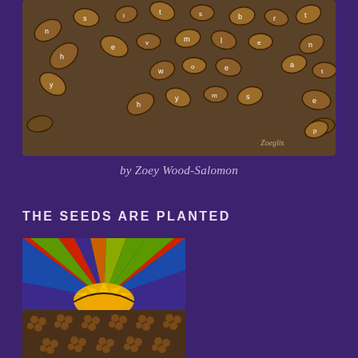[Figure (illustration): Artwork showing seed/nut-shaped forms with letters inscribed in white on a dark brown background, arranged in a scattered pattern. Artist signature reads 'Zoeglis' in lower right.]
by Zoey Wood-Salomon
THE SEEDS ARE PLANTED
[Figure (illustration): Colorful illustration showing a stylized sunrise with bold radiating rays in red, blue, green, and orange above a plowed field with diagonal striped pattern in yellow, white, and dark red. Below the field is a dark brown soil area with round seed clusters.]